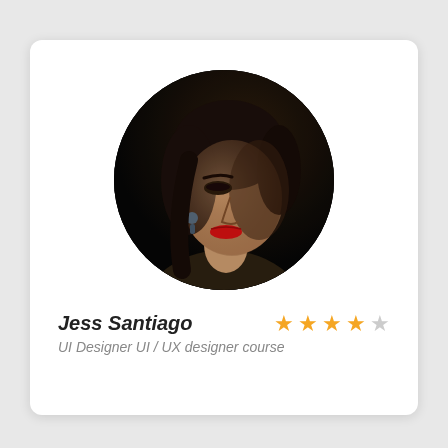[Figure (photo): Circular profile photo of a woman with dark hair, dramatic makeup including red lipstick, wearing a dark outfit, against a dark background. Dark artistic portrait style.]
Jess Santiago
UI Designer UI / UX designer course
[Figure (other): 4 out of 5 star rating displayed with orange filled stars and one grey empty star]